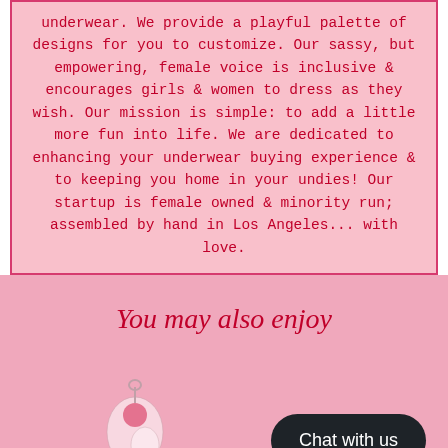underwear. We provide a playful palette of designs for you to customize. Our sassy, but empowering, female voice is inclusive & encourages girls & women to dress as they wish. Our mission is simple: to add a little more fun into life. We are dedicated to enhancing your underwear buying experience & to keeping you home in your undies! Our startup is female owned & minority run; assembled by hand in Los Angeles... with love.
You may also enjoy
[Figure (illustration): Small illustration of a keychain or charm with a round pink bead]
Chat with us